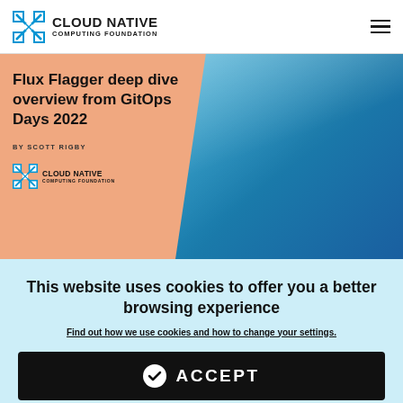CLOUD NATIVE COMPUTING FOUNDATION
[Figure (screenshot): Article thumbnail showing 'Flux Flagger deep dive overview from GitOps Days 2022' by Scott Rigby, with CNCF logo, on a peach/salmon colored card over a blue abstract background]
This website uses cookies to offer you a better browsing experience
Find out how we use cookies and how to change your settings.
ACCEPT